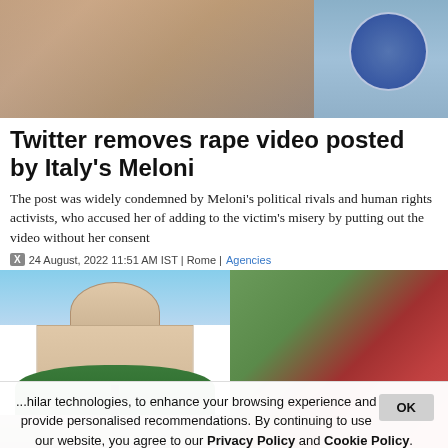[Figure (photo): Top photo showing a blonde woman in a light blue/grey top on the left, and a circular official badge/logo on the right, against a blurred background]
Twitter removes rape video posted by Italy's Meloni
The post was widely condemned by Meloni's political rivals and human rights activists, who accused her of adding to the victim's misery by putting out the video without her consent
24 August, 2022 11:51 AM IST | Rome | Agencies
[Figure (photo): Photo of a large government building (Supreme Court of India) with a dome, red sandstone architecture, trees in front, and blue sky]
[Figure (photo): Partial photo on the right side showing green foliage and a red circular object]
...hilar technologies, to enhance your browsing experience and provide personalised recommendations. By continuing to use our website, you agree to our Privacy Policy and Cookie Policy.